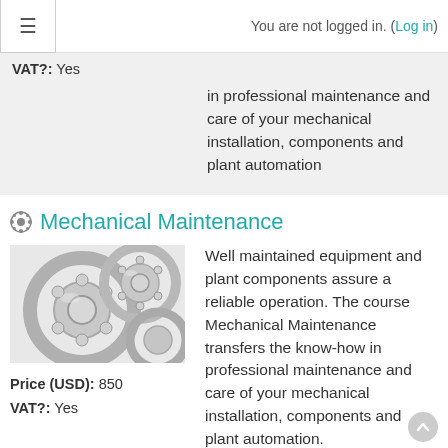≡  You are not logged in. (Log in)
VAT?: Yes
in professional maintenance and care of your mechanical installation, components and plant automation
Mechanical Maintenance
[Figure (photo): Photo of multiple ball bearings/bearing races grouped together]
Price (USD): 850
VAT?: Yes
Well maintained equipment and plant components assure a reliable operation. The course Mechanical Maintenance transfers the know-how in professional maintenance and care of your mechanical installation, components and plant automation.